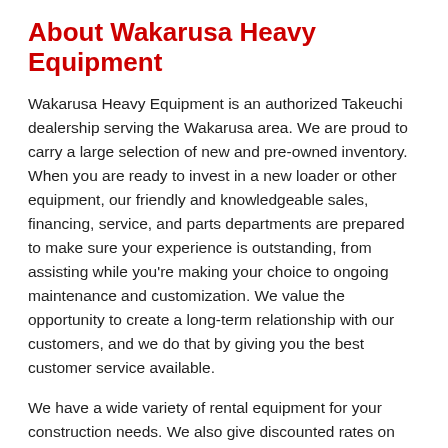About Wakarusa Heavy Equipment
Wakarusa Heavy Equipment is an authorized Takeuchi dealership serving the Wakarusa area. We are proud to carry a large selection of new and pre-owned inventory. When you are ready to invest in a new loader or other equipment, our friendly and knowledgeable sales, financing, service, and parts departments are prepared to make sure your experience is outstanding, from assisting while you're making your choice to ongoing maintenance and customization. We value the opportunity to create a long-term relationship with our customers, and we do that by giving you the best customer service available.
We have a wide variety of rental equipment for your construction needs. We also give discounted rates on multiple rentals or long term jobs! Let us help you complete your next job. Thank you for your patronage.
Contact Us
Reliability is critical when you invest in the machinery you